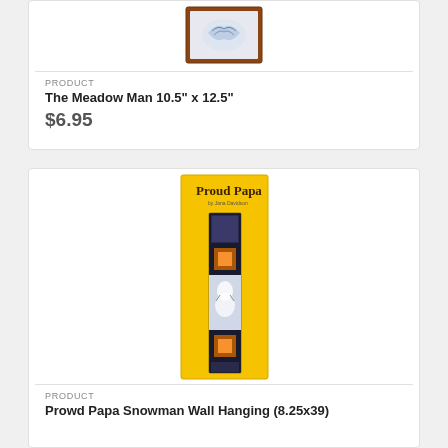[Figure (photo): Product photo of The Meadow Man embroidery pattern in a brown frame, showing blue and white floral/nature design on white fabric]
PRODUCT
The Meadow Man 10.5" x 12.5"
$6.95
[Figure (photo): Product photo of Proud Papa quilt pattern booklet with yellow cover showing a tall narrow snowman wall hanging with blue patchwork borders and white snowman panels]
PRODUCT
Prowd Papa Snowman Wall Hanging (8.25x39)